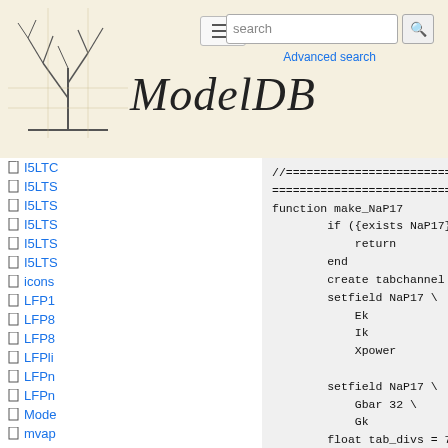[Figure (screenshot): ModelDB website header with logo (neuron tree illustration), ModelDB title in italic serif font, search box, hamburger menu, and Advanced search link]
I5LTC
I5LTS
I5LTS
I5LTS
I5LTS
I5LTS
icons
LFP1
LFP8
LFP8
LFPli
LFPn
LFPn
Mode
mvap
//========================================
========================================
function make_NaP17
        if ({exists NaP17})
            return
        end
        create tabchannel NaP17
        setfield NaP17 \
            Ek                    0.05 \
            Ik                    0    \
            Xpower                3

        setfield NaP17 \
            Gbar 32 \
            Gk                    0
        float tab_divs = 741
        float v_min = -0.12
        float v_max = 0.06
        float v, dv, i